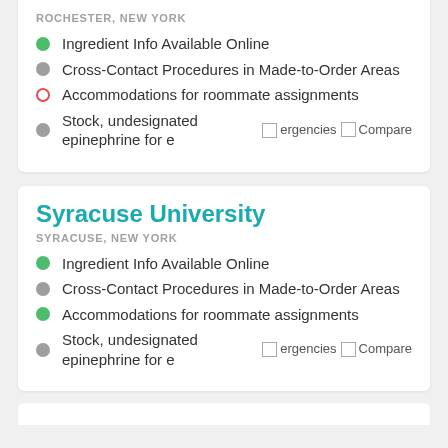ROCHESTER, NEW YORK
Ingredient Info Available Online
Cross-Contact Procedures in Made-to-Order Areas
Accommodations for roommate assignments
Stock, undesignated epinephrine for emergencies  Compare
Syracuse University
SYRACUSE, NEW YORK
Ingredient Info Available Online
Cross-Contact Procedures in Made-to-Order Areas
Accommodations for roommate assignments
Stock, undesignated epinephrine for emergencies  Compare